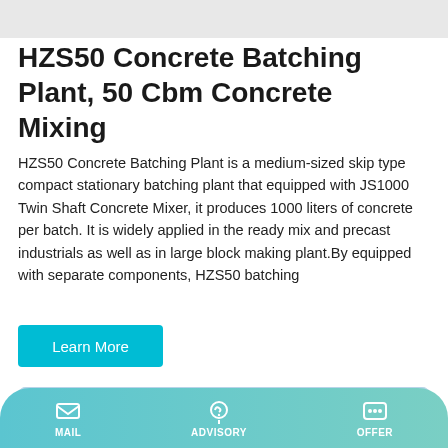HZS50 Concrete Batching Plant, 50 Cbm Concrete Mixing
HZS50 Concrete Batching Plant is a medium-sized skip type compact stationary batching plant that equipped with JS1000 Twin Shaft Concrete Mixer, it produces 1000 liters of concrete per batch. It is widely applied in the ready mix and precast industrials as well as in large block making plant.By equipped with separate components, HZS50 batching
Learn More
[Figure (photo): Two large industrial concrete batching plant silos with blue and white coloring, featuring Chinese characters on them, against a light blue sky background.]
MAIL  ADVISORY  OFFER